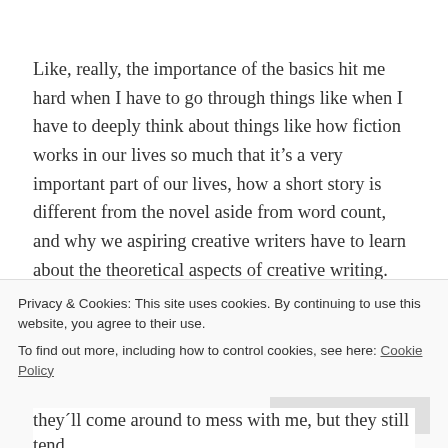Like, really, the importance of the basics hit me hard when I have to go through things like when I have to deeply think about things like how fiction works in our lives so much that it's a very important part of our lives, how a short story is different from the novel aside from word count, and why we aspiring creative writers have to learn about the theoretical aspects of creative writing.
So yeah, trying to speak with the help of gaming terms again, all the spiritual chaos I have to deal with from...
they'll come around to mess with me, but they still tend
Privacy & Cookies: This site uses cookies. By continuing to use this website, you agree to their use.
To find out more, including how to control cookies, see here: Cookie Policy
Close and accept